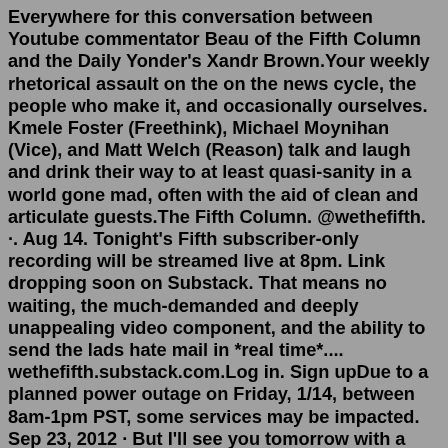Everywhere for this conversation between Youtube commentator Beau of the Fifth Column and the Daily Yonder's Xandr Brown.Your weekly rhetorical assault on the on the news cycle, the people who make it, and occasionally ourselves. Kmele Foster (Freethink), Michael Moynihan (Vice), and Matt Welch (Reason) talk and laugh and drink their way to at least quasi-sanity in a world gone mad, often with the aid of clean and articulate guests.The Fifth Column. @wethefifth. ·. Aug 14. Tonight's Fifth subscriber-only recording will be streamed live at 8pm. Link dropping soon on Substack. That means no waiting, the much-demanded and deeply unappealing video component, and the ability to send the lads hate mail in *real time*.... wethefifth.substack.com.Log in. Sign upDue to a planned power outage on Friday, 1/14, between 8am-1pm PST, some services may be impacted. Sep 23, 2012 · But I'll see you tomorrow with a stream ... Stream live now! #Ad https://twitch.tv/sydeon. 56. 60. 5,706. Ava @AvaGG ... Beau of The Fifth Column. Beau of the fifth column.